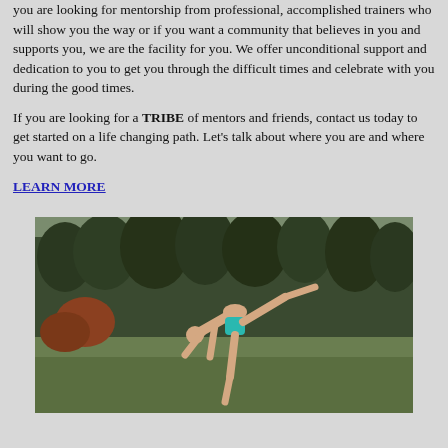you are looking for mentorship from professional, accomplished trainers who will show you the way or if you want a community that believes in you and supports you, we are the facility for you. We offer unconditional support and dedication to you to get you through the difficult times and celebrate with you during the good times.
If you are looking for a TRIBE of mentors and friends, contact us today to get started on a life changing path. Let's talk about where you are and where you want to go.
LEARN MORE
[Figure (photo): A person performing a yoga or gymnastics pose outdoors in a grassy field with trees in the background. The person is wearing teal/turquoise shorts and is bent forward with one leg extended behind them.]